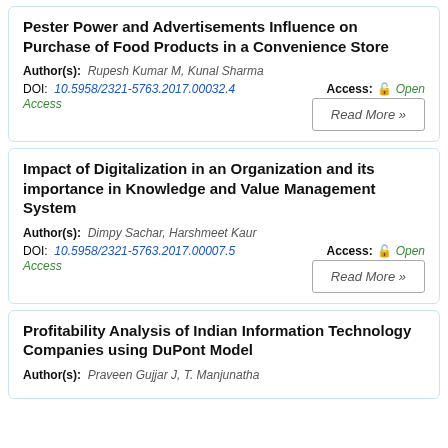Pester Power and Advertisements Influence on Purchase of Food Products in a Convenience Store
Author(s): Rupesh Kumar M, Kunal Sharma
DOI: 10.5958/2321-5763.2017.00032.4  Access: Open Access
Impact of Digitalization in an Organization and its importance in Knowledge and Value Management System
Author(s): Dimpy Sachar, Harshmeet Kaur
DOI: 10.5958/2321-5763.2017.00007.5  Access: Open Access
Profitability Analysis of Indian Information Technology Companies using DuPont Model
Author(s): Praveen Gujjar J, T. Manjunatha